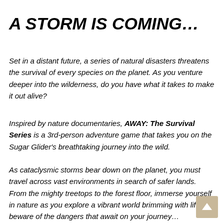A STORM IS COMING…
Set in a distant future, a series of natural disasters threatens the survival of every species on the planet. As you venture deeper into the wilderness, do you have what it takes to make it out alive?
Inspired by nature documentaries, AWAY: The Survival Series is a 3rd-person adventure game that takes you on the Sugar Glider's breathtaking journey into the wild.
As cataclysmic storms bear down on the planet, you must travel across vast environments in search of safer lands. From the mighty treetops to the forest floor, immerse yourself in nature as you explore a vibrant world brimming with life, but beware of the dangers that await on your journey…